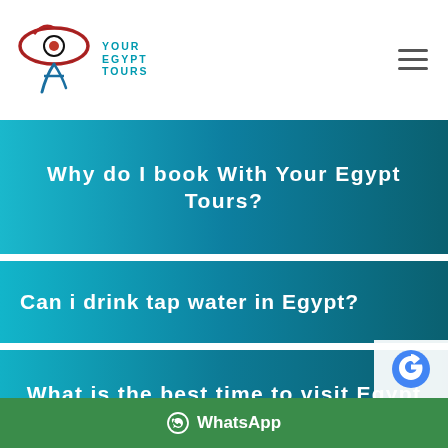Your Egypt Tours
Why do I book with Your Egypt Tours?
Can i drink tap water in Egypt?
What is the best time to visit Egypt 2022 ?
How is the weather in Egypt?
Is Egypt safe for tourists?
WhatsApp